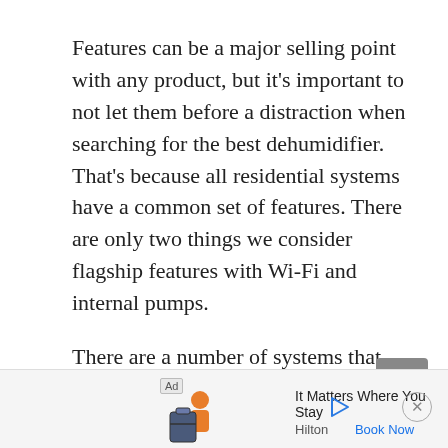Features can be a major selling point with any product, but it's important to not let them before a distraction when searching for the best dehumidifier. That's because all residential systems have a common set of features. There are only two things we consider flagship features with Wi-Fi and internal pumps.
There are a number of systems that have an internal condensate pump, although most are rated at 40 PPD or larger. Wi-Fi is still somewhat rare, however, as there are less than a dozen models with this feature at this time. Both of those features will raise the cost of a dehumidifier, but you shouldn't overpay for the following features.
[Figure (other): Scroll-to-top button: grey rounded rectangle with upward-pointing chevron arrow]
[Figure (other): Ad banner for Hilton: shows luggage icon, 'It Matters Where You Stay', 'Hilton', 'Book Now' link, play icon, and close button]